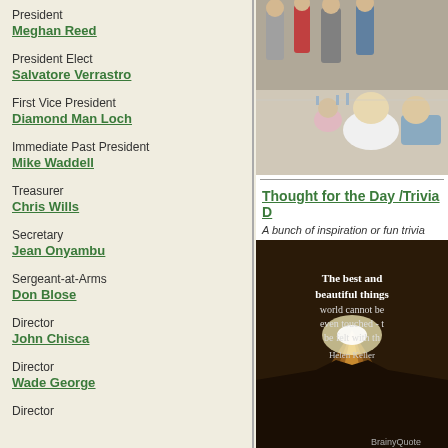President
Meghan Reed
President Elect
Salvatore Verrastro
First Vice President
Diamond Man Loch
Immediate Past President
Mike Waddell
Treasurer
Chris Wills
Secretary
Jean Onyambu
Sergeant-at-Arms
Don Blose
Director
John Chisca
Director
Wade George
Director
[Figure (photo): People seated and standing around a banquet table at an event]
Thought for the Day /Trivia D
A bunch of inspiration or fun trivia
[Figure (photo): Inspirational quote image: 'The best and beautiful things world cannot be even touched - t be felt with th Helen Keller' - BrainyQuote]